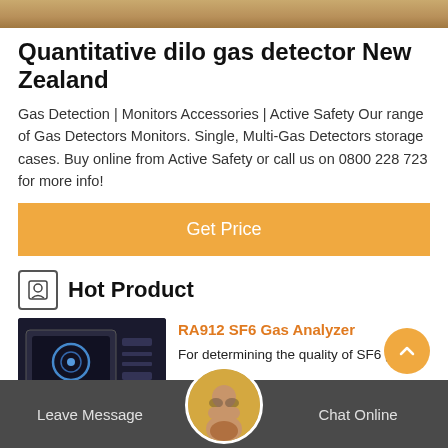[Figure (photo): Top decorative banner image with warm brown/golden tones]
Quantitative dilo gas detector New Zealand
Gas Detection | Monitors Accessories | Active Safety Our range of Gas Detectors Monitors. Single, Multi-Gas Detectors storage cases. Buy online from Active Safety or call us on 0800 228 723 for more info!
Get Price
Hot Product
RA912 SF6 Gas Analyzer
For determining the quality of SF6 gas.
Leave Message   Chat Online